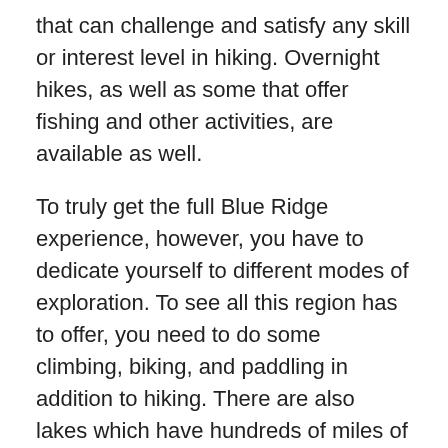that can challenge and satisfy any skill or interest level in hiking. Overnight hikes, as well as some that offer fishing and other activities, are available as well.
To truly get the full Blue Ridge experience, however, you have to dedicate yourself to different modes of exploration. To see all this region has to offer, you need to do some climbing, biking, and paddling in addition to hiking. There are also lakes which have hundreds of miles of shoreline, as well as fantastic ATV and off-road vehicle trails. This area is also the mountain and street biking capital of the eastern United States.
Parks and Wildlife Near